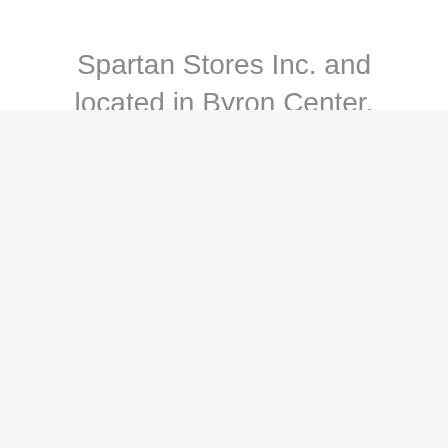Spartan Stores Inc. and located in Byron Center, Michigan, United States